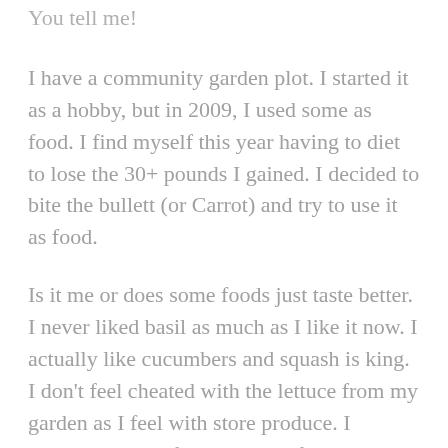You tell me!
I have a community garden plot. I started it as a hobby, but in 2009, I used some as food. I find myself this year having to diet to lose the 30+ pounds I gained. I decided to bite the bullett (or Carrot) and try to use it as food.
Is it me or does some foods just taste better. I never liked basil as much as I like it now. I actually like cucumbers and squash is king. I don't feel cheated with the lettuce from my garden as I feel with store produce. I actually ate cod fish because of the receipe I got from a fellow gardener using Dill in the community